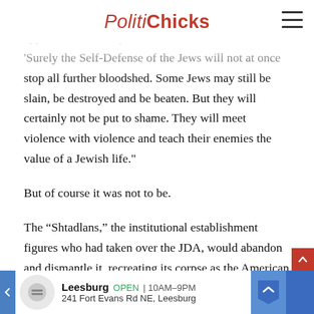PolitiChicks
Attacks of bloodshed can no more be beaten back by appeals to Humanity and Civilization, he wrote. 'Surely the Self-Defense of the Jews will not at once stop all further bloodshed. Some Jews may still be slain, be destroyed and be beaten. But they will certainly not be put to shame. They will meet violence with violence and teach their enemies the value of a Jewish life.'
But of course it was not to be.
The “Shtadlans,” the institutional establishment figures who had taken over the JDA, would abandon and dismantle it, recreating its corpse as the American Jewish Committee. The AJC would default to exactly the kind of aimless political begging that Rabbi Friedlander had condemned because that made power brokers like Marshall and Magnes feel important
Leesburg OPEN | 10AM–9PM 241 Fort Evans Rd NE, Leesburg